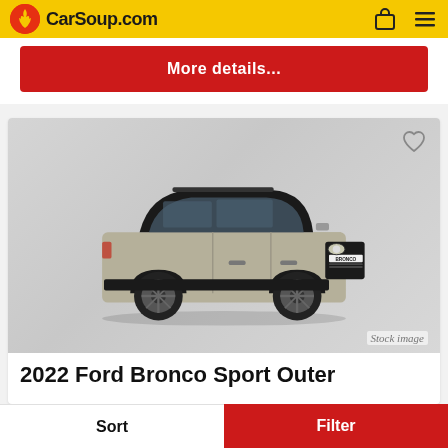CarSoup.com
More details...
[Figure (photo): 2022 Ford Bronco Sport Outer Banks SUV in tan/grey color, front 3/4 view, with black roof and large off-road tires, shown on white/grey background. 'BRONCO' lettering visible on grille bar.]
Stock image
2022 Ford Bronco Sport Outer
Sort  Filter